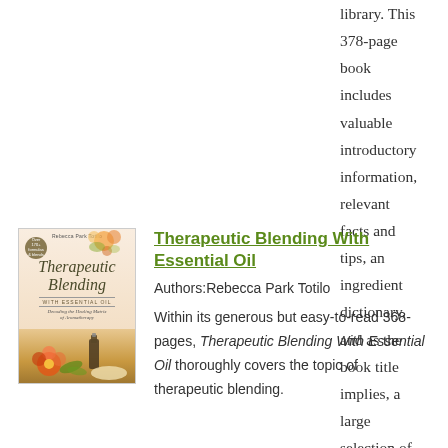library. This 378-page book includes valuable introductory information, relevant facts and tips, an ingredient dictionary, and as the book title implies, a large selection of recipes.
[Figure (photo): Book cover of 'Therapeutic Blending With Essential Oil' by Rebecca Park Totilo, showing a pink/peach background with botanical and aromatherapy imagery including flowers and essential oil bottles.]
Therapeutic Blending With Essential Oil
Authors:Rebecca Park Totilo
Within its generous but easy-to-read 368-pages, Therapeutic Blending With Essential Oil thoroughly covers the topic of therapeutic blending.